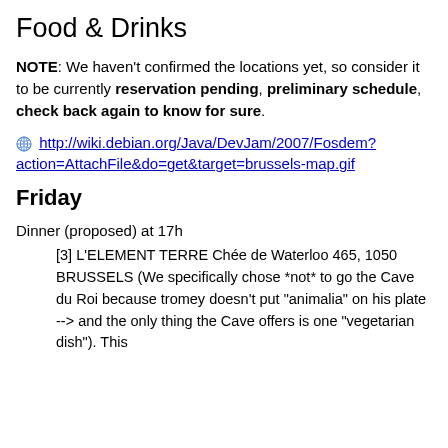Food & Drinks
NOTE: We haven't confirmed the locations yet, so consider it to be currently reservation pending, preliminary schedule, check back again to know for sure.
http://wiki.debian.org/Java/DevJam/2007/Fosdem?action=AttachFile&do=get&target=brussels-map.gif
Friday
Dinner (proposed) at 17h
[3] L'ELEMENT TERRE Chée de Waterloo 465, 1050 BRUSSELS (We specifically chose *not* to go the Cave du Roi because tromey doesn't put "animalia" on his plate --> and the only thing the Cave offers is one "vegetarian dish"). This